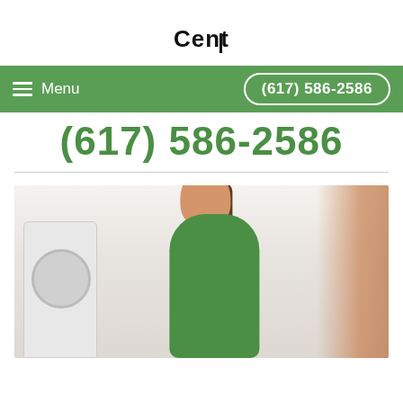[Figure (logo): Logo with text 'Cent' with a cursor after the t]
[Figure (screenshot): Green navigation bar with hamburger menu icon, 'Menu' text on left and '(617) 586-2586' phone number in rounded button on right]
(617) 586-2586
[Figure (photo): Photo of a smiling young woman with brown hair wearing a green top, crouching near a white washing machine in a bright room]